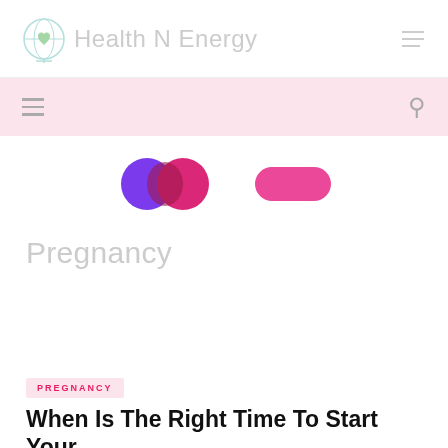Health N Energy
[Figure (logo): Health N Energy website logo with globe/heart icon and site name in light gray, hamburger menu icon top right]
[Figure (infographic): Pink navigation bar with hamburger menu icon on left and search icon on right]
[Figure (infographic): Two pill/oval shaped icons: one purple-to-pink gradient oval and one solid hot pink oval, serving as category icons]
Pregnancy
PREGNANCY
When Is The Right Time To Start Your